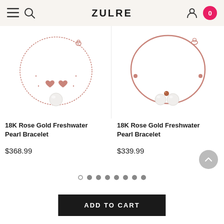ZULRE
[Figure (photo): 18K Rose Gold Freshwater Pearl Bracelet with heart charms and single pearl pendant on a delicate rose gold chain]
18K Rose Gold Freshwater Pearl Bracelet
$368.99
[Figure (photo): 18K Rose Gold Freshwater Pearl Bracelet bangle style with three pearl pendants]
18K Rose Gold Freshwater Pearl Bracelet
$339.99
ADD TO CART